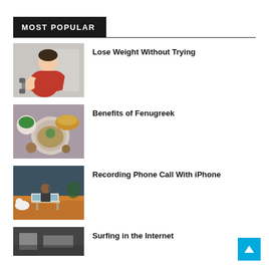MOST POPULAR
[Figure (photo): Man in red tank top doing dumbbell curl exercise]
Lose Weight Without Trying
[Figure (photo): Overhead view of fenugreek seeds, peas, and spices on a table]
Benefits of Fenugreek
[Figure (photo): Woman on orange couch with laptop and white dog, talking on phone]
Recording Phone Call With iPhone
[Figure (photo): Partially visible image for fourth article]
Surfing in the Internet